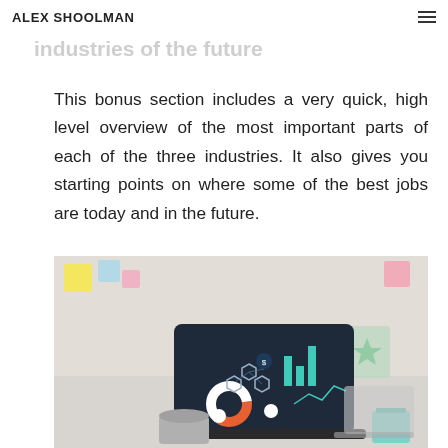ALEX SHOOLMAN
industries of the future such as Machine Learning
This bonus section includes a very quick, high level overview of the most important parts of each of the three industries. It also gives you starting points on where some of the best jobs are today and in the future.
[Figure (photo): Laptop on a desk displaying a data analytics/machine learning dashboard with charts, graphs and icons on a dark blue screen. Coffee mug, teal cup, notebook and another laptop visible in background.]